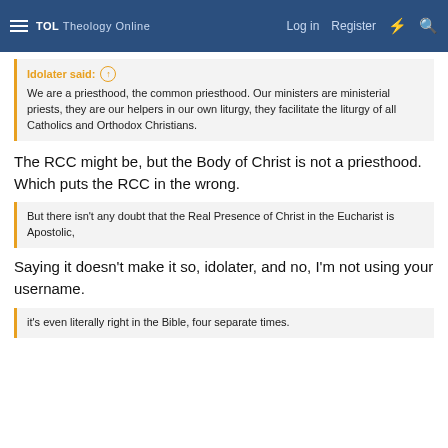TOL Theology Online | Log in | Register
Idolater said:
We are a priesthood, the common priesthood. Our ministers are ministerial priests, they are our helpers in our own liturgy, they facilitate the liturgy of all Catholics and Orthodox Christians.
The RCC might be, but the Body of Christ is not a priesthood. Which puts the RCC in the wrong.
But there isn't any doubt that the Real Presence of Christ in the Eucharist is Apostolic,
Saying it doesn't make it so, idolater, and no, I'm not using your username.
it's even literally right in the Bible, four separate times.